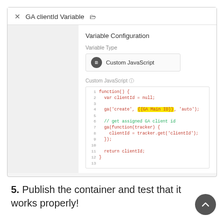[Figure (screenshot): Google Tag Manager Variable Configuration dialog showing 'GA clientId Variable' with Custom JavaScript variable type selected. The code editor shows a JavaScript function that creates a GA tracker, gets the clientId, and returns it. The text '{{GA Main ID}}' is highlighted in yellow on line 4.]
5. Publish the container and test that it works properly!